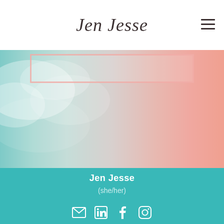Jen Jesse
[Figure (photo): Hero image with teal-to-pink gradient background resembling sky/clouds, with a decorative pink border box overlay at the top]
Jen Jesse
(she/her)
[Figure (infographic): Social media icons: email/envelope, LinkedIn, Facebook, Instagram]